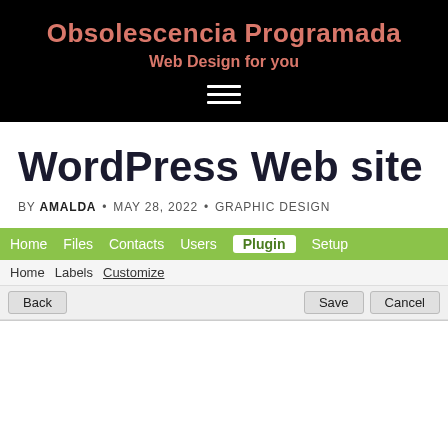Obsolescencia Programada
Web Design for you
WordPress Web site
BY AMALDA · MAY 28, 2022 · GRAPHIC DESIGN
[Figure (screenshot): WordPress admin navigation bar with Home, Files, Contacts, Users, Plugin (active), Setup tabs, with breadcrumb Home > Labels > Customize and Back / Save / Cancel buttons]